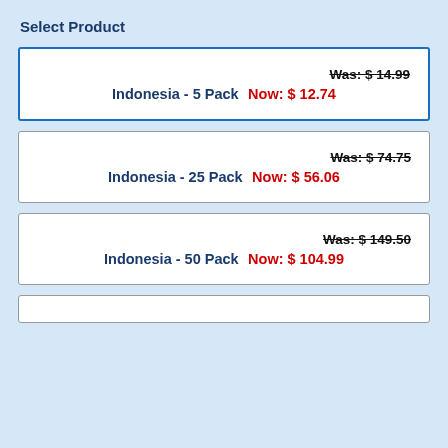Select Product
Indonesia - 5 Pack  Was: $ 14.99  Now: $ 12.74
Indonesia - 25 Pack  Was: $ 74.75  Now: $ 56.06
Indonesia - 50 Pack  Was: $ 149.50  Now: $ 104.99